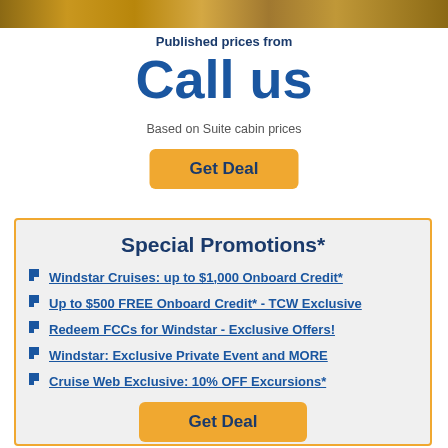[Figure (photo): Top banner image strip showing cruise-related imagery]
Published prices from
Call us
Based on Suite cabin prices
Get Deal
Special Promotions*
Windstar Cruises: up to $1,000 Onboard Credit*
Up to $500 FREE Onboard Credit* - TCW Exclusive
Redeem FCCs for Windstar - Exclusive Offers!
Windstar: Exclusive Private Event and MORE
Cruise Web Exclusive: 10% OFF Excursions*
Get Deal